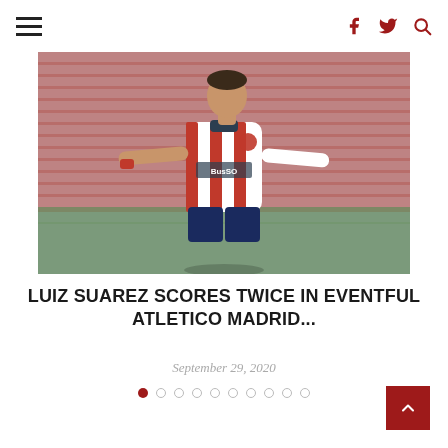Navigation bar with hamburger menu, facebook icon, twitter icon, search icon
[Figure (photo): Football player in red and white striped Atletico Madrid jersey (Hyundai sponsor) celebrating or gesturing on the pitch, with stadium seating visible in background]
LUIZ SUAREZ SCORES TWICE IN EVENTFUL ATLETICO MADRID...
September 29, 2020
Carousel dot indicators: 10 dots, first dot active (filled red), rest empty circles